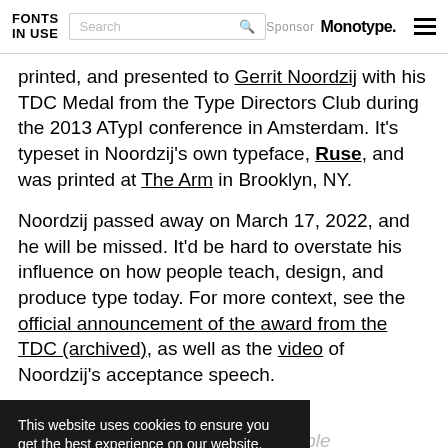FONTS IN USE | Search | Sponsor Monotype.
printed, and presented to Gerrit Noordzij with his TDC Medal from the Type Directors Club during the 2013 ATypI conference in Amsterdam. It's typeset in Noordzij's own typeface, Ruse, and was printed at The Arm in Brooklyn, NY.
Noordzij passed away on March 17, 2022, and he will be missed. It'd be hard to overstate his influence on how people teach, design, and produce type today. For more context, see the official announcement of the award from the TDC (archived), as well as the video of Noordzij's acceptance speech.
Transcription of the Certificate:
This website uses cookies to ensure you get the best experience on our website. Learn more Got it!
— in recognition of his immeasurable contributions to the fields of typeface design and education, the Medal of the Type Directors Club is presented to Gerrit Noordzij.